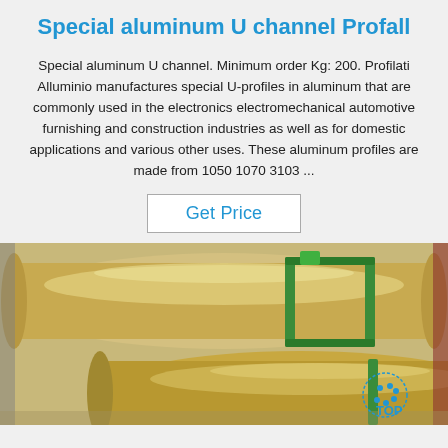Special aluminum U channel Profall
Special aluminum U channel. Minimum order Kg: 200. Profilati Alluminio manufactures special U-profiles in aluminum that are commonly used in the electronics electromechanical automotive furnishing and construction industries as well as for domestic applications and various other uses. These aluminum profiles are made from 1050 1070 3103 ...
Get Price
[Figure (photo): Photo of shiny golden/bronze aluminum cylindrical rolls bundled together with green straps, stacked on a surface. A blue 'TOP' logo watermark is visible in the bottom right corner.]